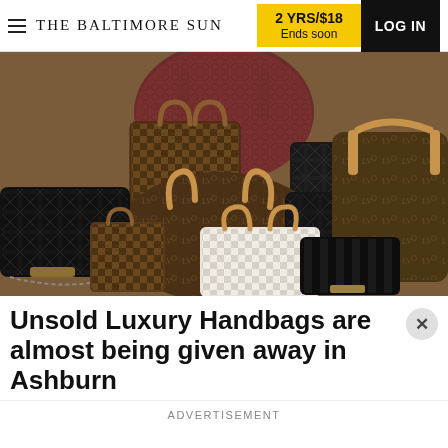THE BALTIMORE SUN | 2 YRS/$18 Ends soon | LOG IN
[Figure (photo): A pile of luxury designer handbags including Louis Vuitton monogram and damier bags, Chanel quilted bags in black, and a burgundy embossed bag, stacked together.]
Unsold Luxury Handbags are almost being given away in Ashburn
ADVERTISEMENT